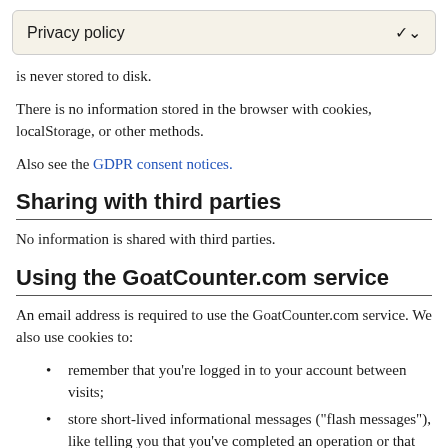Privacy policy
is never stored to disk.
There is no information stored in the browser with cookies, localStorage, or other methods.
Also see the GDPR consent notices.
Sharing with third parties
No information is shared with third parties.
Using the GoatCounter.com service
An email address is required to use the GoatCounter.com service. We also use cookies to:
remember that you're logged in to your account between visits;
store short-lived informational messages ("flash messages"), like telling you that you've completed an operation or that